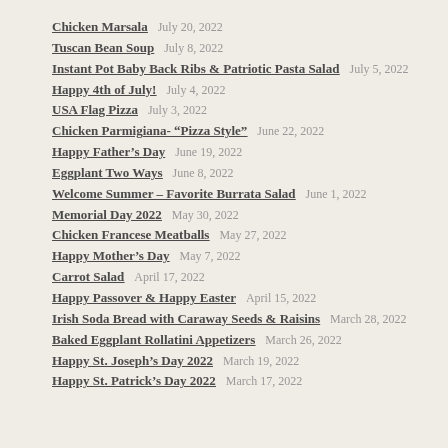Chicken Marsala    July 20, 2022
Tuscan Bean Soup    July 8, 2022
Instant Pot Baby Back Ribs & Patriotic Pasta Salad    July 5, 2022
Happy 4th of July!    July 4, 2022
USA Flag Pizza    July 3, 2022
Chicken Parmigiana- “Pizza Style”    June 22, 2022
Happy Father’s Day    June 19, 2022
Eggplant Two Ways    June 8, 2022
Welcome Summer – Favorite Burrata Salad    June 1, 2022
Memorial Day 2022    May 30, 2022
Chicken Francese Meatballs    May 27, 2022
Happy Mother’s Day    May 7, 2022
Carrot Salad    April 17, 2022
Happy Passover & Happy Easter    April 15, 2022
Irish Soda Bread with Caraway Seeds & Raisins    March 28, 2022
Baked Eggplant Rollatini Appetizers    March 26, 2022
Happy St. Joseph’s Day 2022    March 19, 2022
Happy St. Patrick’s Day 2022    March 17, 2022